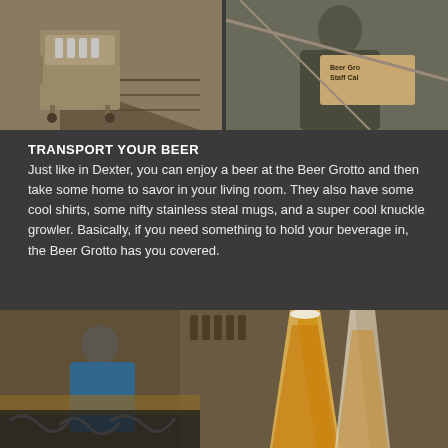[Figure (photo): Two photos side by side: left shows a beer cart/trolley with glassware near stairs, right shows a person holding a 'Beer Grotto Staff Only' sign]
TRANSPORT YOUR BEER
Just like in Dexter, you can enjoy a beer at the Beer Grotto and then take some home to savor in your living room. They also have some cool shirts, some nifty stainless steal mugs, and a super cool knuckle growler. Basically, if you need something to hold your beverage in, the Beer Grotto has you covered.
[Figure (photo): Interior of Beer Grotto with two tall pilsner glasses of golden beer in foreground, person in blue jacket visible in background near shelves of bottles]